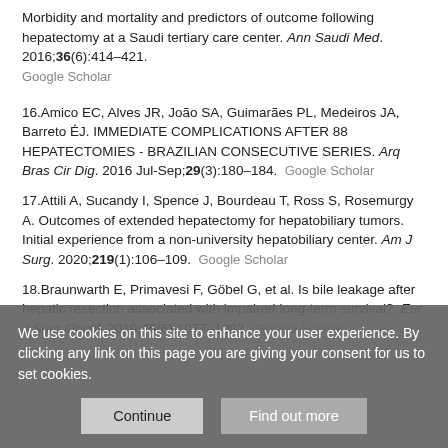Morbidity and mortality and predictors of outcome following hepatectomy at a Saudi tertiary care center. Ann Saudi Med. 2016;36(6):414–421.
Google Scholar
16.Amico EC, Alves JR, João SA, Guimarães PL, Medeiros JA, Barreto ÉJ. IMMEDIATE COMPLICATIONS AFTER 88 HEPATECTOMIES - BRAZILIAN CONSECUTIVE SERIES. Arq Bras Cir Dig. 2016 Jul-Sep;29(3):180–184.  Google Scholar
17.Attili A, Sucandy I, Spence J, Bourdeau T, Ross S, Rosemurgy A. Outcomes of extended hepatectomy for hepatobiliary tumors. Initial experience from a non-university hepatobiliary center. Am J Surg. 2020;219(1):106–109.  Google Scholar
18.Braunwarth E, Primavesi F, Göbel G, et al. Is bile leakage after hepatic resection associated with impaired long-term survival?. Eur J Surg Oncol. 2019;45(6):1077–1083.  Google Scholar
We use cookies on this site to enhance your user experience. By clicking any link on this page you are giving your consent for us to set cookies.